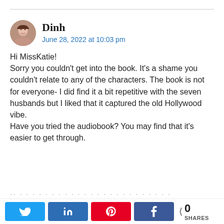Dinh
June 28, 2022 at 10:03 pm
Hi MissKatie!
Sorry you couldn't get into the book. It's a shame you couldn't relate to any of the characters. The book is not for everyone- I did find it a bit repetitive with the seven husbands but I liked that it captured the old Hollywood vibe.
Have you tried the audiobook? You may find that it's easier to get through.
Share bar: Twitter, LinkedIn, Pinterest, Facebook, 0 SHARES